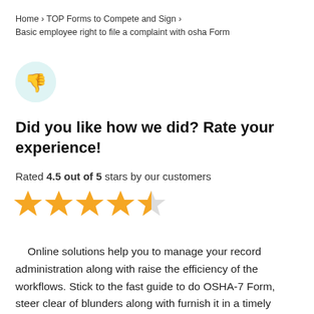Home › TOP Forms to Compete and Sign › Basic employee right to file a complaint with osha Form
[Figure (illustration): Yellow thumbs-down icon inside a light teal circle]
Did you like how we did? Rate your experience!
Rated 4.5 out of 5 stars by our customers
[Figure (other): 4.5 out of 5 gold star rating — four full stars and one half star]
Online solutions help you to manage your record administration along with raise the efficiency of the workflows. Stick to the fast guide to do OSHA-7 Form, steer clear of blunders along with furnish it in a timely manner: